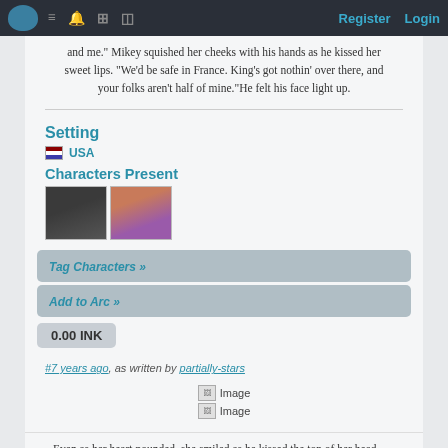Register  Login
and me." Mikey squished her cheeks with his hands as he kissed her sweet lips. "We'd be safe in France. King's got nothin' over there, and your folks aren't half of mine."He felt his face light up.
Setting
USA
Characters Present
[Figure (photo): Two character portrait photos side by side]
Tag Characters »
Add to Arc »
0.00 INK
#7 years ago, as written by partially-stars
[Figure (photo): Two broken image placeholders labeled Image]
Even as her heart pounded, she smiled as he kissed the top of her head